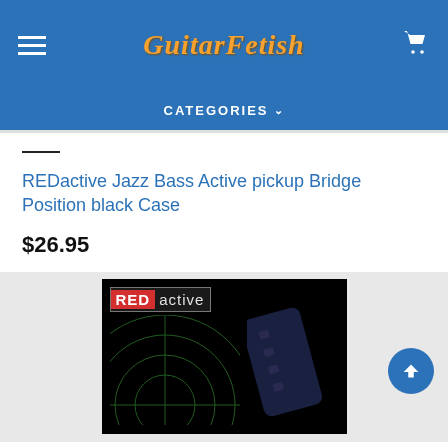GuitarFetish — CATEGORIES
REDactive Jazz Bass Active pickup Bridge Position black Case
$26.95
[Figure (photo): REDactive branded product image showing a dark/black Jazz Bass pickup on a green radar background with the REDactive logo in the top left corner]